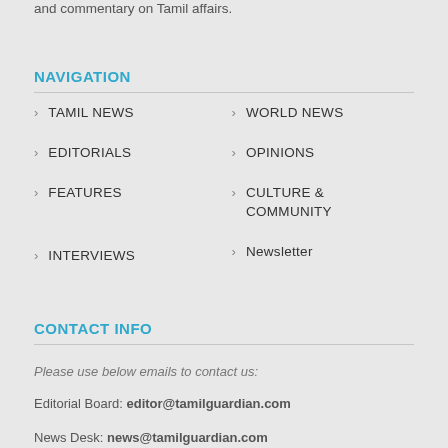and commentary on Tamil affairs.
NAVIGATION
TAMIL NEWS
WORLD NEWS
EDITORIALS
OPINIONS
FEATURES
CULTURE & COMMUNITY
INTERVIEWS
Newsletter
CONTACT INFO
Please use below emails to contact us:
Editorial Board: editor@tamilguardian.com
News Desk: news@tamilguardian.com